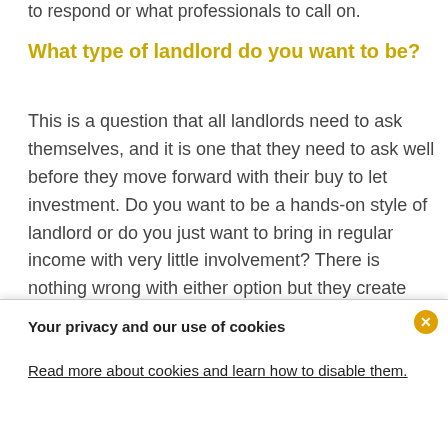to respond or what professionals to call on.
What type of landlord do you want to be?
This is a question that all landlords need to ask themselves, and it is one that they need to ask well before they move forward with their buy to let investment. Do you want to be a hands-on style of landlord or do you just want to bring in regular income with very little involvement? There is nothing wrong with either option but they create very different scenarios for
Your privacy and our use of cookies
Read more about cookies and learn how to disable them.